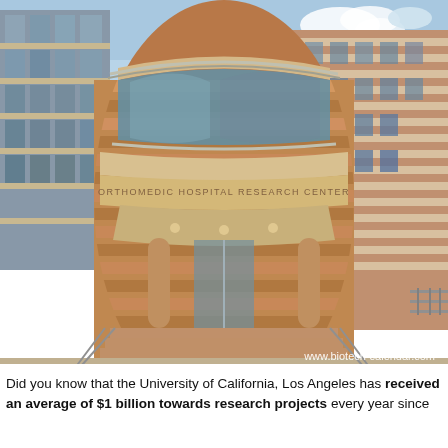[Figure (photo): Exterior photograph of the Orthomedic Hospital Research Center building, a modern brick structure with curved cylindrical tower featuring large curved glass windows, striped brick and stone facade, columned entrance with wide steps, and adjacent multi-story buildings. Watermark 'www.biotech-calendar.com' at bottom right.]
Did you know that the University of California, Los Angeles has received an average of $1 billion towards research projects every year since